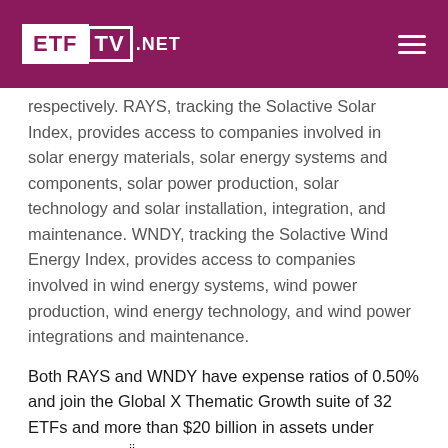ETF TV .NET
respectively. RAYS, tracking the Solactive Solar Index, provides access to companies involved in solar energy materials, solar energy systems and components, solar power production, solar technology and solar installation, integration, and maintenance. WNDY, tracking the Solactive Wind Energy Index, provides access to companies involved in wind energy systems, wind power production, wind energy technology, and wind power integrations and maintenance.
Both RAYS and WNDY have expense ratios of 0.50% and join the Global X Thematic Growth suite of 32 ETFs and more than $20 billion in assets under management.ii
About Global X ETFs
Global X ETFs was founded in 2008. For more than a